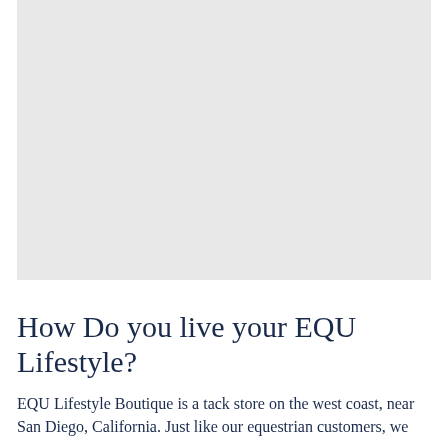[Figure (photo): Large rectangular placeholder image with light gray background, likely a photo of equestrian/lifestyle content]
How Do you live your EQU Lifestyle?
EQU Lifestyle Boutique is a tack store on the west coast, near San Diego, California. Just like our equestrian customers, we